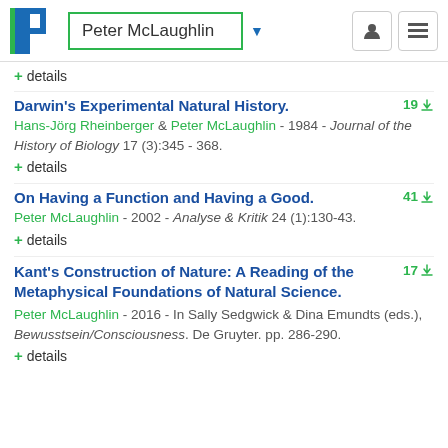Peter McLaughlin
+ details
Darwin's Experimental Natural History.
Hans-Jörg Rheinberger & Peter McLaughlin - 1984 - Journal of the History of Biology 17 (3):345 - 368.
+ details
On Having a Function and Having a Good.
Peter McLaughlin - 2002 - Analyse & Kritik 24 (1):130-43.
+ details
Kant's Construction of Nature: A Reading of the Metaphysical Foundations of Natural Science.
Peter McLaughlin - 2016 - In Sally Sedgwick & Dina Emundts (eds.), Bewusstsein/Consciousness. De Gruyter. pp. 286-290.
+ details